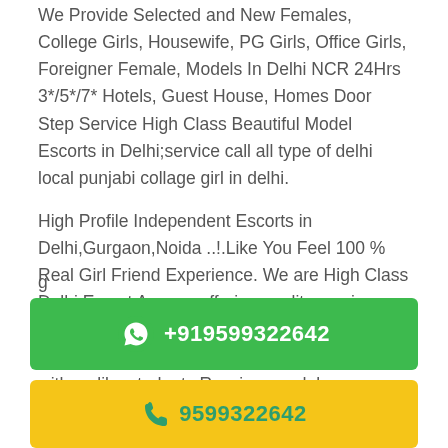We Provide Selected and New Females, College Girls, Housewife, PG Girls, Office Girls, Foreigner Female, Models In Delhi NCR 24Hrs 3*/5*/7* Hotels, Guest House, Homes Door Step Service High Class Beautiful Model Escorts in Delhi;service call all type of delhi local punjabi collage girl in delhi.
High Profile Independent Escorts in Delhi,Gurgaon,Noida ..!.Like You Feel 100 % Real Girl Friend Experience. We are High Class Delhi Escort Agency offering quality services with discretion. We only offer services to gentlemen people. We have lots of girls working with us like students,Russian, models,
g
[Figure (infographic): Green WhatsApp button with phone number +919599322642]
[Figure (infographic): Yellow call button with phone number 9599322642]